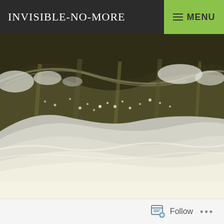INVISIBLE-NO-MORE  ☰ MENU
[Figure (photo): Close-up photograph of powerful rushing water/waterfall with white foam and turbulent waves crashing. The water appears dark olive/brown with white frothy spray. The wave crests from left to right across the frame.]
Follow ...